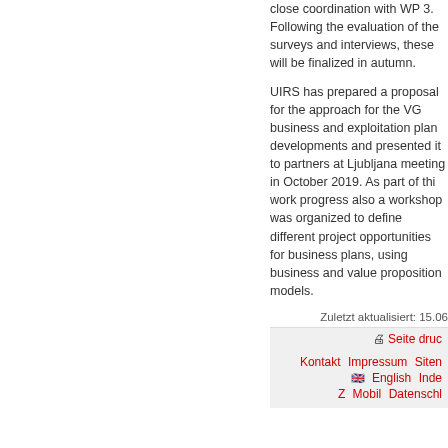close coordination with WP 3. Following the evaluation of the surveys and interviews, these will be finalized in autumn.
UIRS has prepared a proposal for the approach for the VG business and exploitation plan developments and presented it to partners at Ljubljana meeting in October 2019. As part of this work progress also a workshop was organized to define different project opportunities for business plans, using business and value proposition models.
Zuletzt aktualisiert: 15.06
🖨 Seite druc
Kontakt   Impressum   Sitem   🏴󠁧󠁢󠁥󠁮󠁧󠁿 English   Inde   Z   Mobil   Datench